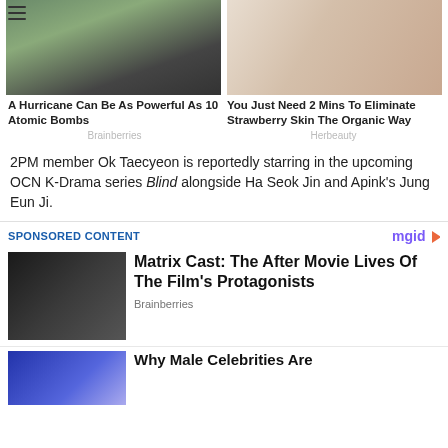[Figure (photo): Hurricane scene with cars and palm trees bending in wind]
[Figure (photo): Person scrubbing legs with coffee/sugar scrub in shower/bath]
A Hurricane Can Be As Powerful As 10 Atomic Bombs
You Just Need 2 Mins To Eliminate Strawberry Skin The Organic Way
Brainberries
Herbeauty
2PM member Ok Taecyeon is reportedly starring in the upcoming OCN K-Drama series Blind alongside Ha Seok Jin and Apink’s Jung Eun Ji.
SPONSORED CONTENT
[Figure (photo): Matrix-style action scene with person in black coat and hat]
Matrix Cast: The After Movie Lives Of The Film’s Protagonists
Brainberries
[Figure (photo): Colorful background with partial image]
Why Male Celebrities Are...